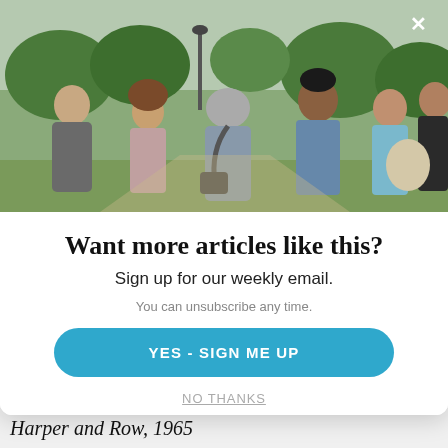[Figure (photo): Group of people talking outdoors in a park setting, green trees in background. Six adults visible, some with bags, casual conference-style gathering.]
Want more articles like this?
Sign up for our weekly email.
You can unsubscribe any time.
YES - SIGN ME UP
NO THANKS
Harper and Row, 1965